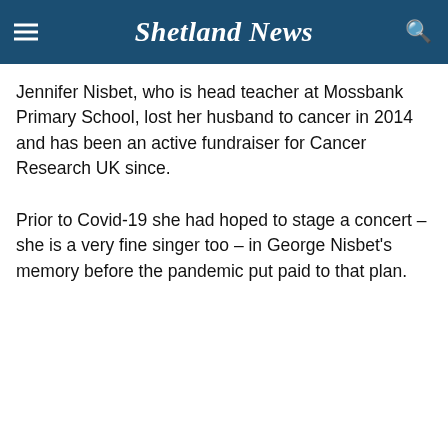Shetland News
Jennifer Nisbet, who is head teacher at Mossbank Primary School, lost her husband to cancer in 2014 and has been an active fundraiser for Cancer Research UK since.
Prior to Covid-19 she had hoped to stage a concert – she is a very fine singer too – in George Nisbet's memory before the pandemic put paid to that plan.
Your Privacy
We use cookies on our site to improve your experience.
By using our service, you agree to our Privacy Policy and Cookie Policy.
✓  I'm OK with that